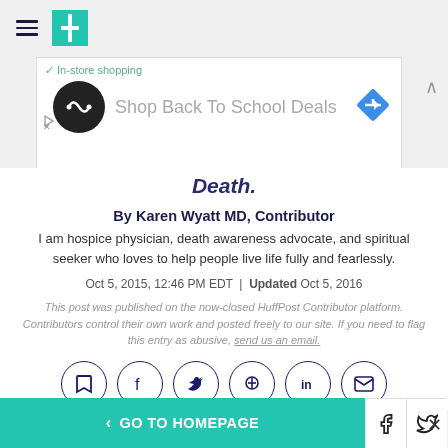HuffPost - hamburger menu and logo
[Figure (screenshot): Advertisement banner for Shop Back To School Deals with infinity-loop logo and blue diamond navigation icon]
Death.
By Karen Wyatt MD, Contributor
I am hospice physician, death awareness advocate, and spiritual seeker who loves to help people live life fully and fearlessly.
Oct 5, 2015, 12:46 PM EDT | Updated Oct 5, 2016
This post was published on the now-closed HuffPost Contributor platform. Contributors control their own work and posted freely to our site. If you need to flag this entry as abusive, send us an email.
[Figure (infographic): Row of social sharing icons: bookmark, facebook, twitter, pinterest, linkedin, email]
< GO TO HOMEPAGE | facebook share | twitter share | close